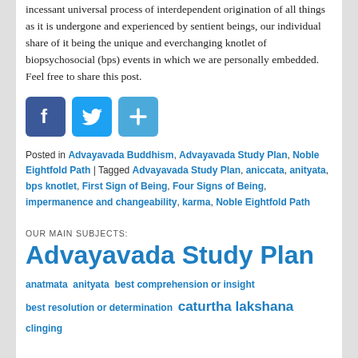incessant universal process of interdependent origination of all things as it is undergone and experienced by sentient beings, our individual share of it being the unique and everchanging knotlet of biopsychosocial (bps) events in which we are personally embedded. Feel free to share this post.
[Figure (other): Social sharing buttons: Facebook (blue), Twitter (light blue), and a plus/more button (blue)]
Posted in Advayavada Buddhism, Advayavada Study Plan, Noble Eightfold Path | Tagged Advayavada Study Plan, aniccata, anityata, bps knotlet, First Sign of Being, Four Signs of Being, impermanence and changeability, karma, Noble Eightfold Path
OUR MAIN SUBJECTS:
Advayavada Study Plan
anatmata anityata best comprehension or insight best resolution or determination caturtha lakshana clinging